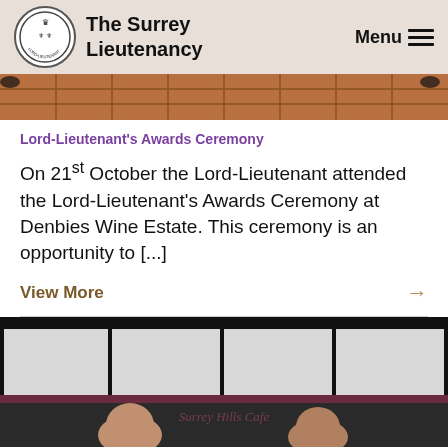The Surrey Lieutenancy
[Figure (photo): Top portion of a photo showing a tiled floor, likely interior of a venue]
Lord-Lieutenant's Awards Ceremony
On 21st October the Lord-Lieutenant attended the Lord-Lieutenant's Awards Ceremony at Denbies Wine Estate. This ceremony is an opportunity to [...]
View More →
[Figure (photo): Photo showing two men standing in front of a building with large windows; a sign reading 'Surrey Hills Cafe' is visible]